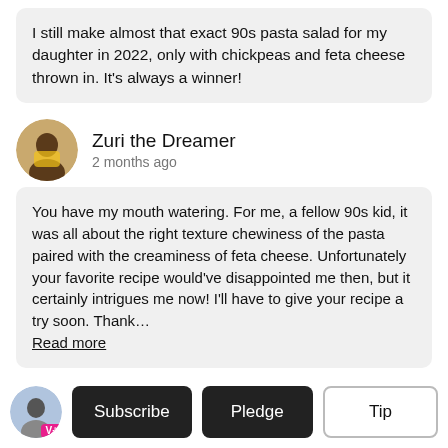I still make almost that exact 90s pasta salad for my daughter in 2022, only with chickpeas and feta cheese thrown in. It's always a winner!
Zuri the Dreamer
2 months ago
You have my mouth watering. For me, a fellow 90s kid, it was all about the right texture chewiness of the pasta paired with the creaminess of feta cheese. Unfortunately your favorite recipe would've disappointed me then, but it certainly intrigues me now! I'll have to give your recipe a try soon. Thank... Read more
Babs Iverson
2 months ago